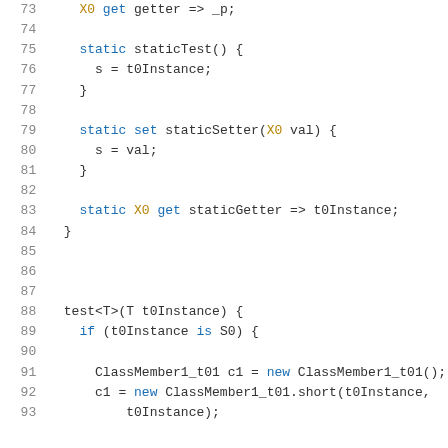Code listing lines 73-93 showing Dart/Flutter class member code with getters, setters, static methods, and test function